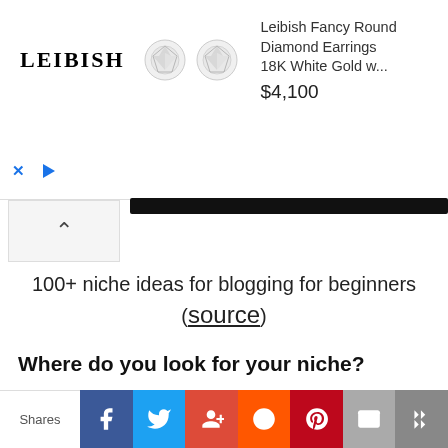[Figure (screenshot): Leibish advertisement banner showing diamond earrings, logo, product title 'Leibish Fancy Round Diamond Earrings 18K White Gold w...' and price '$4,100']
100+ niche ideas for blogging for beginners (source)
Where do you look for your niche?
So now you know WHY it's critical to restrict your specialization and reach, but how do you go about doing it? It's never too late to dive into a specialized specialty, whether you're just starting
[Figure (screenshot): Social share bar at bottom with Shares label and buttons: Facebook, Twitter, Google+, Reddit, Pinterest, Email, and crown/bookmark icon]